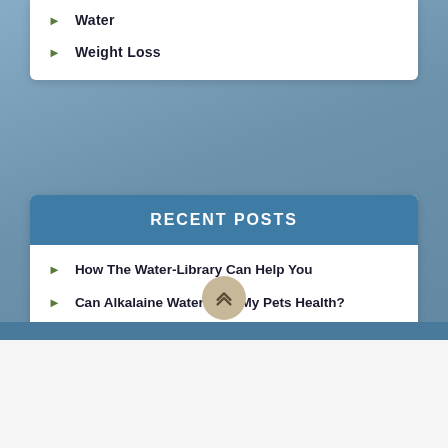Water
Weight Loss
RECENT POSTS
How The Water-Library Can Help You
Can Alkalaine Water Help My Pets Health?
Anti Aging Treatments With Water
The Effects Of Dehydration
Water Is The Highway to Anti Aging